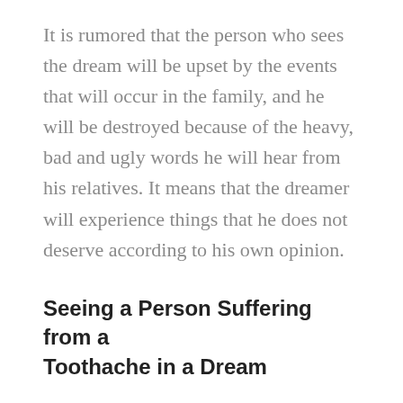It is rumored that the person who sees the dream will be upset by the events that will occur in the family, and he will be destroyed because of the heavy, bad and ugly words he will hear from his relatives. It means that the dreamer will experience things that he does not deserve according to his own opinion.
Seeing a Person Suffering from a Toothache in a Dream
It indicates a person in trouble around the dream owner. This means that the person